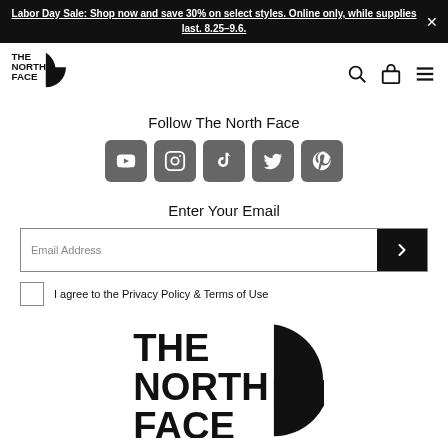Labor Day Sale: Shop now and save 30% on select styles. Online only, while supplies last. 8.25–9.6.
[Figure (logo): The North Face logo - small, top left navigation bar]
Follow The North Face
[Figure (infographic): Row of 5 social media icons: YouTube, Instagram, TikTok, Twitter, Pinterest — dark grey rounded squares]
Enter Your Email
Email Address
I agree to the Privacy Policy & Terms of Use
[Figure (logo): The North Face logo — large, centered at bottom]